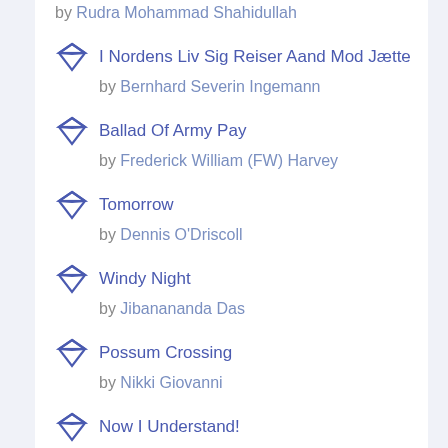by Rudra Mohammad Shahidullah
I Nordens Liv Sig Reiser Aand Mod Jætte by Bernhard Severin Ingemann
Ballad Of Army Pay by Frederick William (FW) Harvey
Tomorrow by Dennis O'Driscoll
Windy Night by Jibanananda Das
Possum Crossing by Nikki Giovanni
Now I Understand! by Saigyo